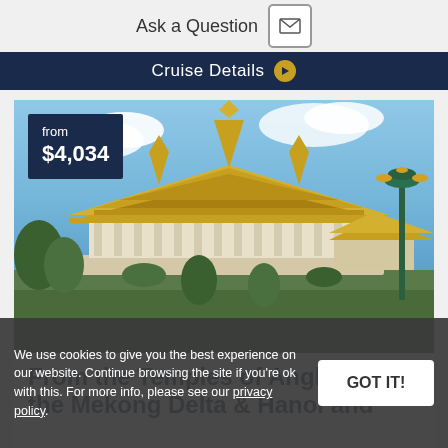Ask a Question
Cruise Details
[Figure (photo): Photograph of a Southeast Asian temple (Royal Palace Cambodia / Angkor temple) with golden roofs and ornate architecture under blue sky with clouds, green lamp post on right]
from $4,034
From the Temples of Angkor to the Mekong Delta & Hanoi and
We use cookies to give you the best experience on our website. Continue browsing the site if you're ok with this. For more info, please see our privacy policy.
Discover 2 historical cities